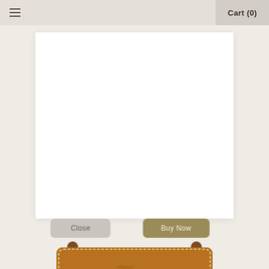Cart (0)
mizzuo
[Figure (screenshot): E-commerce website modal overlay showing a white dialog card on a muted beige website background, with 'Close' and 'Buy Now' buttons, and a brown leather backpack with tassels partially visible below.]
Close
Buy Now